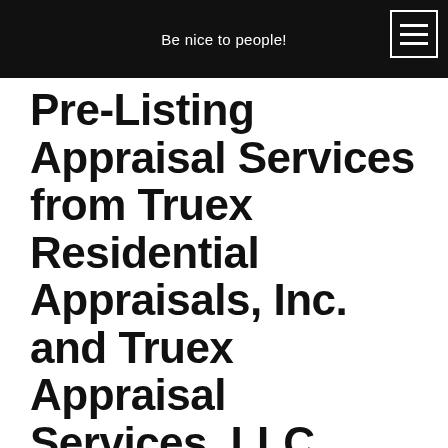Be nice to people!
Pre-Listing Appraisal Services from Truex Residential Appraisals, Inc. and Truex Appraisal Services, LLC
[Figure (photo): Photo of a brick house exterior with arched windows, people visible at the bottom]
Working with a broker to list your home? Then you can expect them to provide you with a comparative market analysis (or CMA) that displays a list of houses for sale in your area. It's a good starting point in determining your home's listing price. This is a really important step if your interests